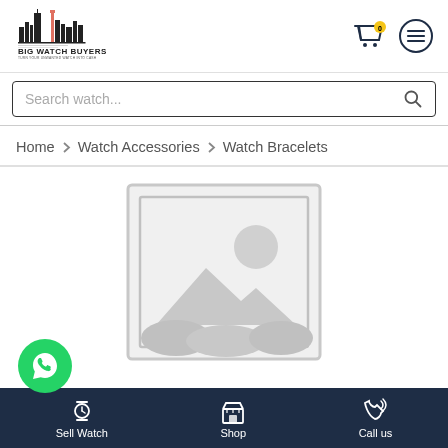[Figure (logo): Big Watch Buyers logo — city skyline silhouette with text 'BIG WATCH BUYERS' and tagline 'TURN YOUR UNWANTED WATCH INTO CASH']
Search watch...
Home > Watch Accessories > Watch Bracelets
[Figure (photo): Placeholder product image — grey image placeholder with mountain/landscape icon and circle]
[Figure (other): WhatsApp floating button (green circle with WhatsApp phone icon)]
Sell Watch | Shop | Call us